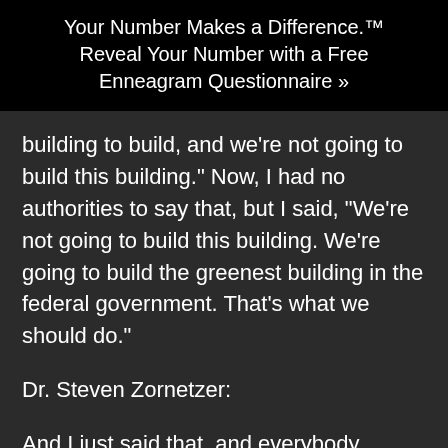Your Number Makes a Difference.™ Reveal Your Number with a Free Enneagram Questionnaire »
building to build, and we’re not going to build this building.” Now, I had no authorities to say that, but I said, “We’re not going to build this building. We’re going to build the greenest building in the federal government. That’s what we should do.”
Dr. Steven Zornetzer:
And I just said that, and everybody looked at me and like, are you crazy? How are you going to do that? And some people clapped. So I went back to the director and told them this was upon us now.